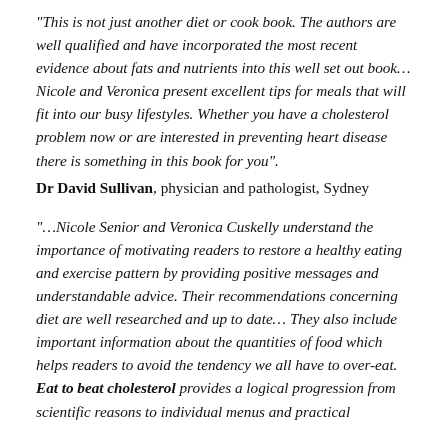“This is not just another diet or cook book. The authors are well qualified and have incorporated the most recent evidence about fats and nutrients into this well set out book…Nicole and Veronica present excellent tips for meals that will fit into our busy lifestyles. Whether you have a cholesterol problem now or are interested in preventing heart disease there is something in this book for you”.
Dr David Sullivan, physician and pathologist, Sydney
“…Nicole Senior and Veronica Cuskelly understand the importance of motivating readers to restore a healthy eating and exercise pattern by providing positive messages and understandable advice. Their recommendations concerning diet are well researched and up to date… They also include important information about the quantities of food which helps readers to avoid the tendency we all have to over-eat. Eat to beat cholesterol provides a logical progression from scientific reasons to individual menus and practical